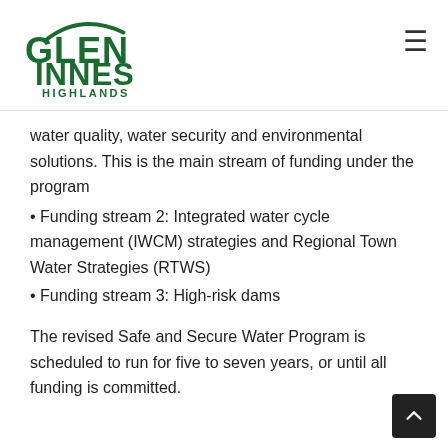Glen Innes Highlands
water quality, water security and environmental solutions. This is the main stream of funding under the program
Funding stream 2: Integrated water cycle management (IWCM) strategies and Regional Town Water Strategies (RTWS)
Funding stream 3: High-risk dams
The revised Safe and Secure Water Program is scheduled to run for five to seven years, or until all funding is committed.